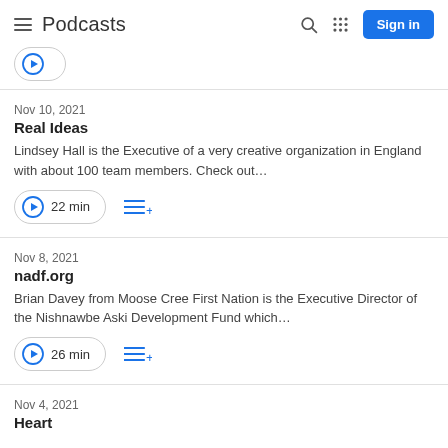Podcasts — Sign in
Nov 10, 2021
Real Ideas
Lindsey Hall is the Executive of a very creative organization in England with about 100 team members. Check out…
22 min
Nov 8, 2021
nadf.org
Brian Davey from Moose Cree First Nation is the Executive Director of the Nishnawbe Aski Development Fund which…
26 min
Nov 4, 2021
Heart